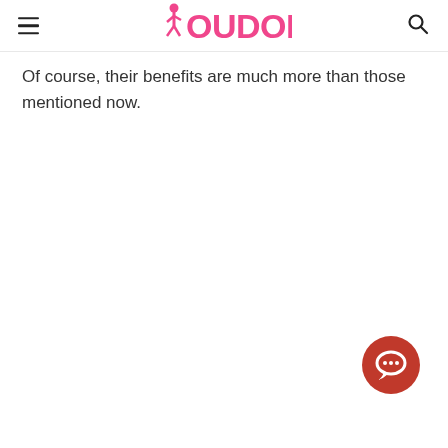iOUDOII (logo with hamburger menu and search icon)
Of course, their benefits are much more than those mentioned now.
[Figure (illustration): Red circular chat/message button icon in the bottom-right corner of the page]